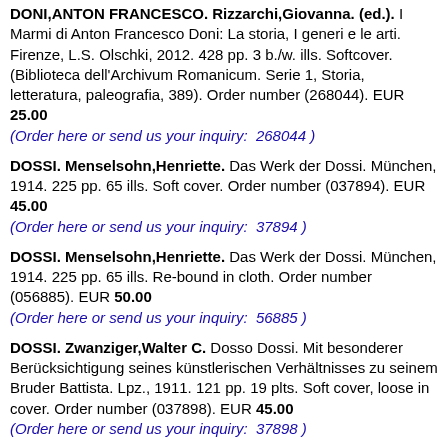DONI,ANTON FRANCESCO. Rizzarchi,Giovanna. (ed.). I Marmi di Anton Francesco Doni: La storia, I generi e le arti. Firenze, L.S. Olschki, 2012. 428 pp. 3 b./w. ills. Softcover. (Biblioteca dell'Archivum Romanicum. Serie 1, Storia, letteratura, paleografia, 389). Order number (268044). EUR 25.00 (Order here or send us your inquiry: 268044 )
DOSSI. Menselsohn,Henriette. Das Werk der Dossi. München, 1914. 225 pp. 65 ills. Soft cover. Order number (037894). EUR 45.00 (Order here or send us your inquiry: 37894 )
DOSSI. Menselsohn,Henriette. Das Werk der Dossi. München, 1914. 225 pp. 65 ills. Re-bound in cloth. Order number (056885). EUR 50.00 (Order here or send us your inquiry: 56885 )
DOSSI. Zwanziger,Walter C. Dosso Dossi. Mit besonderer Berücksichtigung seines künstlerischen Verhältnisses zu seinem Bruder Battista. Lpz., 1911. 121 pp. 19 plts. Soft cover, loose in cover. Order number (037898). EUR 45.00 (Order here or send us your inquiry: 37898 )
Ducati,Pericle. L'arte in Roma dalle origini al sec. VIII. Bologna, 1938. 500 pp. 303 plts. Rebound in h.cloth. (Instituto di Studi Romani). Order number (130923). EUR 22.50